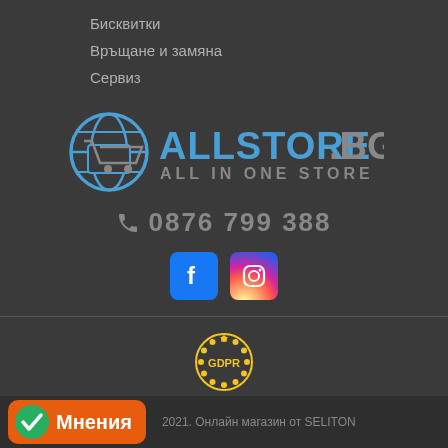Бисквитки
Връщане и замяна
Сервиз
[Figure (logo): ALLSTORE.BG ALL IN ONE STORE logo with globe and shopping cart icon]
0876 799 388
[Figure (logo): Facebook and Instagram social media icons]
[Figure (logo): GDPR star circle badge]
Нашият онлайн магазин е 100% съобразен с GDPR. Прочетете нашата политика
Моите лични данни
2021. Онлайн магазин от SELITON